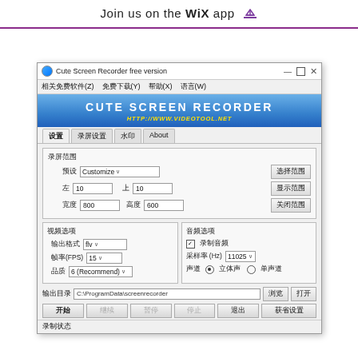Join us on the WiX app
[Figure (screenshot): Cute Screen Recorder free version application window screenshot showing settings for screen recording area, video options, audio options, output directory, and control buttons.]